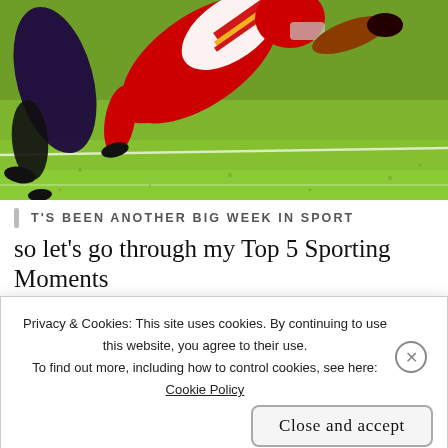[Figure (photo): Sports photograph showing American football players mid-action, one player in red Kansas City Chiefs uniform diving/leaping, another in dark purple uniform, on a green grass field with white yard line visible.]
T'S BEEN ANOTHER BIG WEEK IN SPORT
so let’s go through my Top 5 Sporting Moments
Privacy & Cookies: This site uses cookies. By continuing to use this website, you agree to their use.
To find out more, including how to control cookies, see here: Cookie Policy
Close and accept